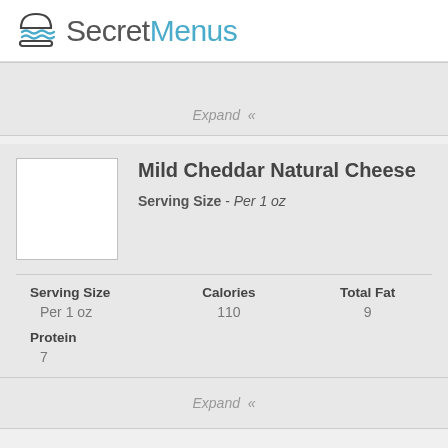SecretMenus
Expand «
Mild Cheddar Natural Cheese
Serving Size - Per 1 oz
| Serving Size | Calories | Total Fat |
| --- | --- | --- |
| Per 1 oz | 110 | 9 |
| Protein |
| --- |
| 7 |
Expand «